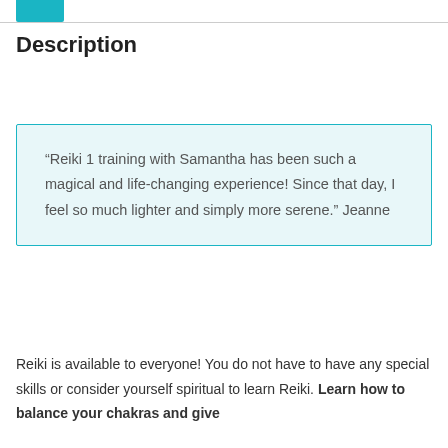Description
“Reiki 1 training with Samantha has been such a magical and life-changing experience! Since that day, I feel so much lighter and simply more serene.” Jeanne
Reiki is available to everyone! You do not have to have any special skills or consider yourself spiritual to learn Reiki. Learn how to balance your chakras and give